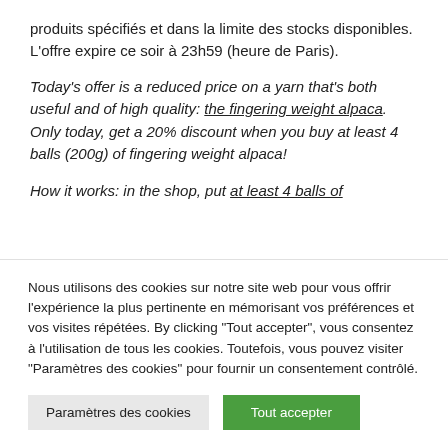produits spécifiés et dans la limite des stocks disponibles. L'offre expire ce soir à 23h59 (heure de Paris).
Today's offer is a reduced price on a yarn that's both useful and of high quality: the fingering weight alpaca. Only today, get a 20% discount when you buy at least 4 balls (200g) of fingering weight alpaca!
How it works: in the shop, put at least 4 balls of
Nous utilisons des cookies sur notre site web pour vous offrir l'expérience la plus pertinente en mémorisant vos préférences et vos visites répétées. By clicking "Tout accepter", vous consentez à l'utilisation de tous les cookies. Toutefois, vous pouvez visiter "Paramètres des cookies" pour fournir un consentement contrôlé.
Paramètres des cookies
Tout accepter